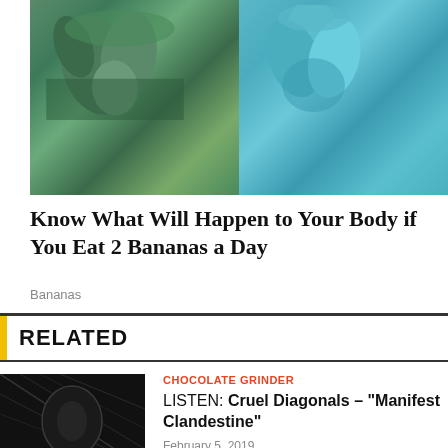[Figure (photo): Two side-by-side photos of blue/teal bananas on plants. Left image shows darker greenish-blue banana bunch with leaves. Right image shows lighter teal blue banana bunch close-up.]
Know What Will Happen to Your Body if You Eat 2 Bananas a Day
Bananas
RELATED
CHOCOLATE GRINDER
LISTEN: Cruel Diagonals – "Manifest Clandestine"
February 5, 2019